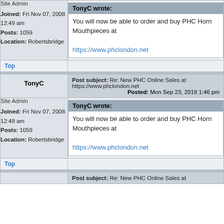Site Admin
TonyC wrote: You will now be able to order and buy PHC Horn Mouthpieces at https://www.phclondon.net
Joined: Fri Nov 07, 2008 12:49 am
Posts: 1059
Location: Robertsbridge
Top
TonyC
Post subject: Re: New PHC Online Sales at https://www.phclondon.net
Posted: Mon Sep 23, 2019 1:46 pm
Site Admin
TonyC wrote: You will now be able to order and buy PHC Horn Mouthpieces at https://www.phclondon.net
Joined: Fri Nov 07, 2008 12:49 am
Posts: 1059
Location: Robertsbridge
Top
Post subject: Re: New PHC Online Sales at